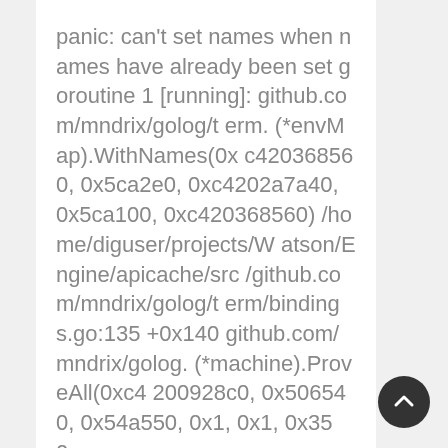panic: can't set names when names have already been set goroutine 1 [running]: github.com/mndrix/golog/term.(*envMap).WithNames(0xc420368560, 0x5ca2e0, 0xc4202a7a40, 0x5ca100, 0xc420368560) /home/diguser/projects/Watson/Engine/apicache/src/github.com/mndrix/golog/term/bindings.go:135 +0x140 github.com/mndrix/golog.(*machine).ProveAll(0xc4200928c0, 0x506540, 0x54a550, 0x1, 0x1, 0x358)